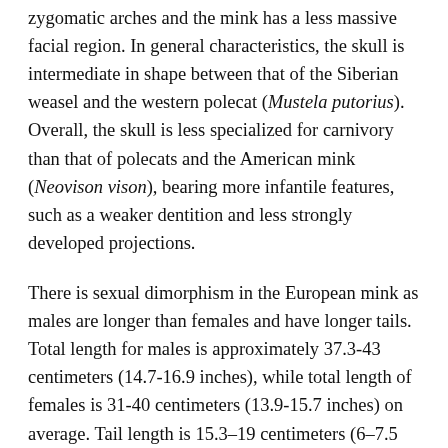zygomatic arches and the mink has a less massive facial region. In general characteristics, the skull is intermediate in shape between that of the Siberian weasel and the western polecat (Mustela putorius). Overall, the skull is less specialized for carnivory than that of polecats and the American mink (Neovison vison), bearing more infantile features, such as a weaker dentition and less strongly developed projections.
There is sexual dimorphism in the European mink as males are longer than females and have longer tails. Total length for males is approximately 37.3-43 centimeters (14.7-16.9 inches), while total length of females is 31-40 centimeters (13.9-15.7 inches) on average. Tail length is 15.3–19 centimeters (6–7.5 inches) in males and 15–18 centimeters (5.9–7.1 inches). Overall weight is 440–800 grams (15-26 ounces).